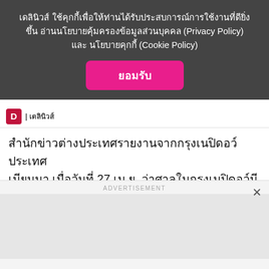เดลินิวส์ ใช้คุกกี้เพื่อให้ท่านได้รับประสบการณ์การใช้งานที่ดียิ่งขึ้น อ่านนโยบายคุ้มครองข้อมูลส่วนบุคคล (Privacy Policy) และ นโยบายคุกกี้ (Cookie Policy)
ยอมรับ
สำนักข่าวต่างประเทศรายงานจากกรุงเนปิดอว์ ประเทศเมียนมา เมื่อวันที่ 27 เม.ย. ว่าศาลในกรุงเนปิดอว์มีคำพิพากษา เมื่อวันพุธ ให้นางออง ซาน ซูจี อดีตผู้นำรัฐบาลพลเรือน รับโทษจำคุกเป็นเวลา 5 ปี ฐานมีความผิดจริงตามคำฟ้องทั้งหมด ในคดีแรกจากทั้งหมด 11 คดี ที่เกี่ยวกับการคอร์รัปชั่น
ADVERTISEMENT